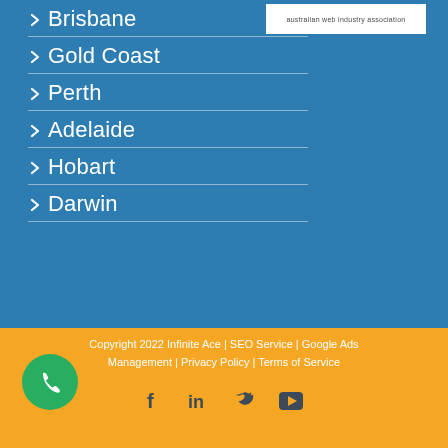[Figure (logo): Australian Web Industry Association logo in white box]
Brisbane
Gold Coast
Perth
Adelaide
Hobart
Darwin
Copyright 2022 Infinite Ace | SEO Service | Google Ads Management | Privacy Policy | Terms of Service
[Figure (infographic): Social media icons: Facebook, LinkedIn, Twitter, YouTube; and a green phone button]